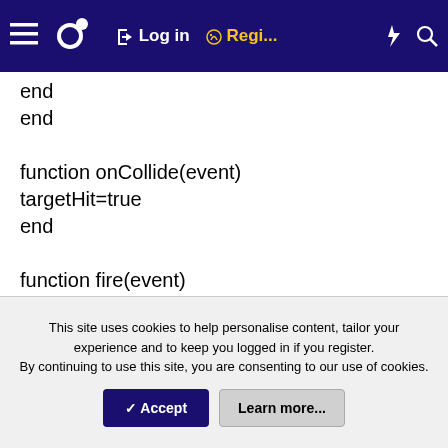Lua wiki navigation bar with hamburger menu, Lua logo, Log in, Regi..., lightning icon, search icon
end
end

function onCollide(event)
targetHit=true
end

function fire(event)
--only fire at the beginning of a touch event
if (event.phase == 'began') then
media.playSound('bang.wav')
bullet = display.newImage('vaccine.png')
--move the image
bullet.x, bullet.y = cannonBarrelLocalToContent(70, 0)
This site uses cookies to help personalise content, tailor your experience and to keep you logged in if you register.
By continuing to use this site, you are consenting to our use of cookies.